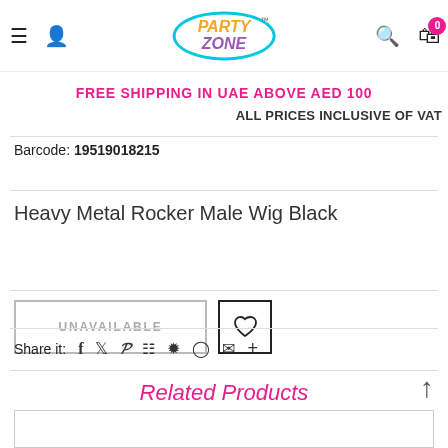Party Zone — FREE SHIPPING IN UAE ABOVE AED 100 — ALL PRICES INCLUSIVE OF VAT
Barcode: 19519018215
Heavy Metal Rocker Male Wig Black
UNAVAILABLE
Share it:
Related Products